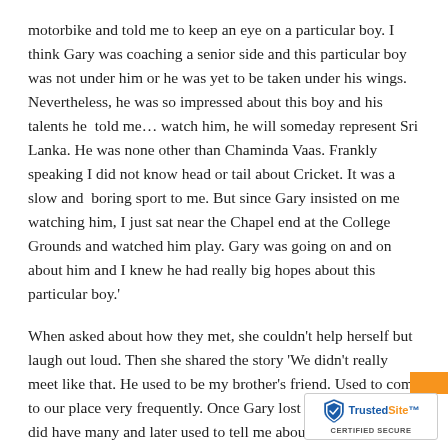motorbike and told me to keep an eye on a particular boy. I think Gary was coaching a senior side and this particular boy was not under him or he was yet to be taken under his wings. Nevertheless, he was so impressed about this boy and his talents he told me… watch him, he will someday represent Sri Lanka. He was none other than Chaminda Vaas. Frankly speaking I did not know head or tail about Cricket. It was a slow and boring sport to me. But since Gary insisted on me watching him, I just sat near the Chapel end at the College Grounds and watched him play. Gary was going on and on about him and I knew he had really big hopes about this particular boy.'
When asked about how they met, she couldn't help herself but laugh out loud. Then she shared the story 'We didn't really meet like that. He used to be my brother's friend. Used to come to our place very frequently. Once Gary lost his girlfriend, he did have many and later used to tell me about all. So when he was down and out and he used to look up to my mum and dad and spend a lot of time with us. We all knew he was a heartbroken man. So we used to be very nice to him as we all knew what kind of a person he was. It was th friendship that turned into something later. The whole…